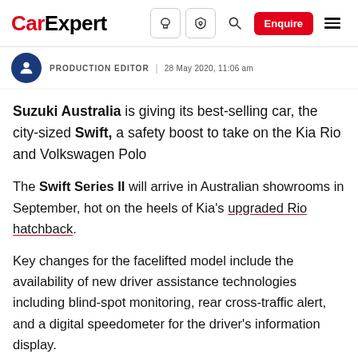CarExpert | Enquire
PRODUCTION EDITOR | 28 May 2020, 11:06 am
Suzuki Australia is giving its best-selling car, the city-sized Swift, a safety boost to take on the Kia Rio and Volkswagen Polo
The Swift Series II will arrive in Australian showrooms in September, hot on the heels of Kia's upgraded Rio hatchback.
Key changes for the facelifted model include the availability of new driver assistance technologies including blind-spot monitoring, rear cross-traffic alert, and a digital speedometer for the driver's information display.